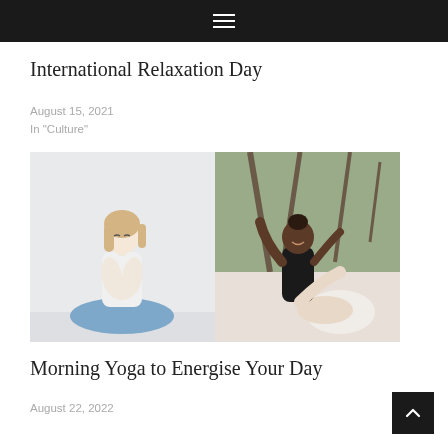≡ (hamburger menu icon)
International Relaxation Day
August 15, 2021
In "Culture"
[Figure (photo): Two women doing yoga: left photo shows a blonde woman seated cross-legged in prayer pose indoors against a light wall; right photo shows a woman in a black top doing a stretching yoga pose outdoors with trees in background.]
Morning Yoga to Energise Your Day
August 22, 2022